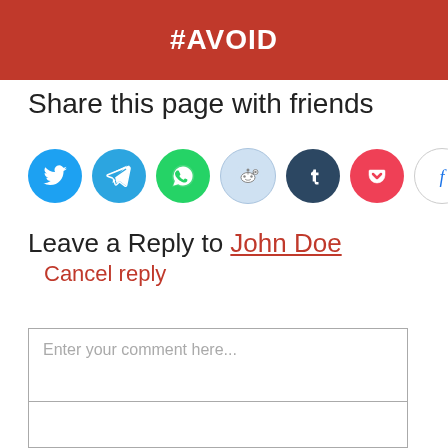#AVOID
Share this page with friends
[Figure (infographic): Row of social media share icon circles: Twitter (blue), Telegram (blue), WhatsApp (green), Reddit (light blue/grey), Tumblr (dark navy), Pocket (red), Flipboard (white/outlined with blue f)]
Leave a Reply to John Doe Cancel reply
Enter your comment here...